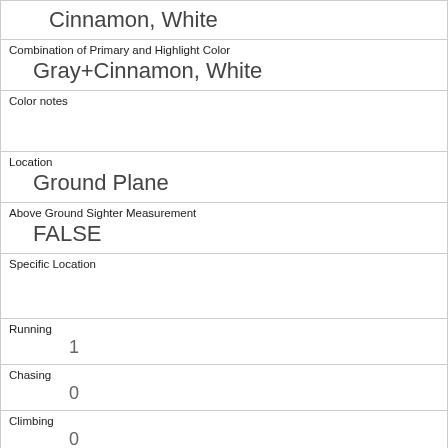| Cinnamon, White |
| Combination of Primary and Highlight Color
Gray+Cinnamon, White |
| Color notes
 |
| Location
Ground Plane |
| Above Ground Sighter Measurement
FALSE |
| Specific Location
 |
| Running
1 |
| Chasing
0 |
| Climbing
0 |
| Eating
1 |
| Foraging
0 |